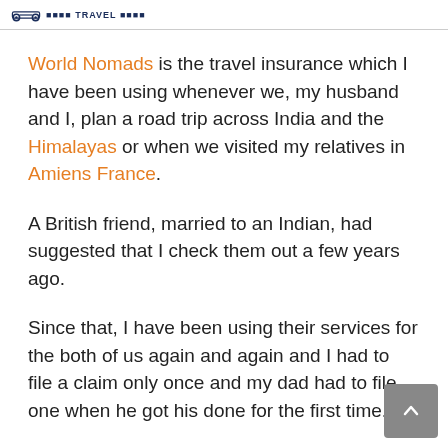TRAVEL [logo]
World Nomads is the travel insurance which I have been using whenever we, my husband and I, plan a road trip across India and the Himalayas or when we visited my relatives in Amiens France.
A British friend, married to an Indian, had suggested that I check them out a few years ago.
Since that, I have been using their services for the both of us again and again and I had to file a claim only once and my dad had to file one when he got his done for the first time.